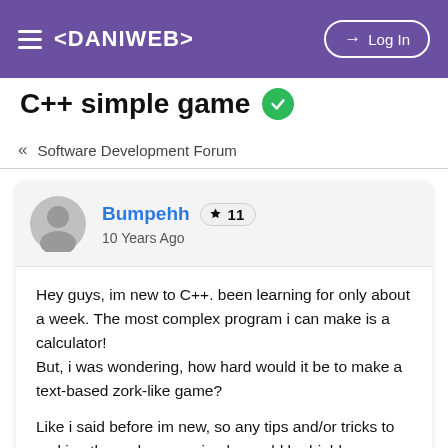< DANIWEB > Log In
C++ simple game
« Software Development Forum
Bumpehh 🏆 11
10 Years Ago
Hey guys, im new to C++. been learning for only about a week. The most complex program i can make is a calculator!
But, i was wondering, how hard would it be to make a text-based zork-like game?

Like i said before im new, so any tips and/or tricks to making the code more simple would be highly appreciated. i know the more complex the more better the game will be, and the more easier it will be to modify it later on. but i dont